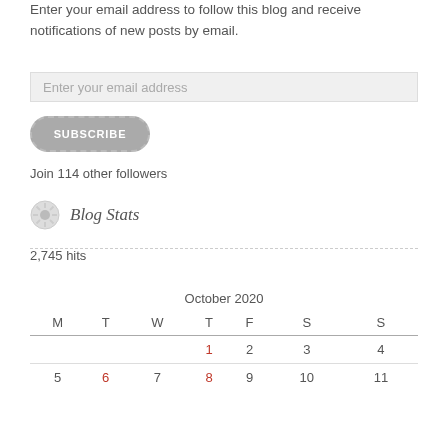Enter your email address to follow this blog and receive notifications of new posts by email.
Enter your email address
SUBSCRIBE
Join 114 other followers
Blog Stats
2,745 hits
| M | T | W | T | F | S | S |
| --- | --- | --- | --- | --- | --- | --- |
|  |  |  | 1 | 2 | 3 | 4 |
| 5 | 6 | 7 | 8 | 9 | 10 | 11 |